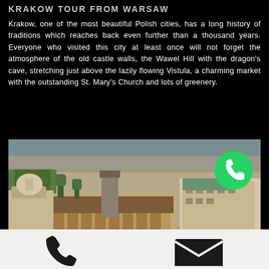KRAKOW TOUR FROM WARSAW
Krakow, one of the most beautiful Polish cities, has a long history of traditions which reaches back even further than a thousand years. Everyone who visited this city at least once will not forget the atmosphere of the old castle walls, the Wawel Hill with the dragon's cave, stretching just above the lazily flowing Vistula, a charming market with the outstanding St. Mary's Church and lots of greenery.
[Figure (photo): Aerial view of Krakow city center showing historic market square with Cloth Hall and surrounding buildings, with a WhatsApp icon overlay and a BOOK NOW button]
[Figure (other): Phone icon and mail envelope icon on white background at the bottom of the page]